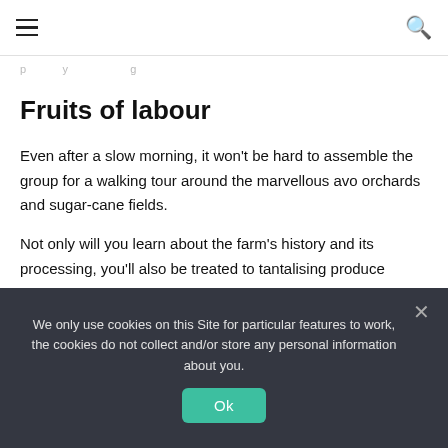≡  🔍
…partial page heading text…
Fruits of labour
Even after a slow morning, it won't be hard to assemble the group for a walking tour around the marvellous avo orchards and sugar-cane fields.
Not only will you learn about the farm's history and its processing, you'll also be treated to tantalising produce tastings. After savouring a farm-ripened avo, you'll likely get the urge to plant a
We only use cookies on this Site for particular features to work, the cookies do not collect and/or store any personal information about you.